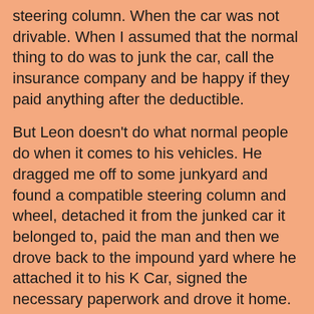steering column. When the car was not drivable. When I assumed that the normal thing to do was to junk the car, call the insurance company and be happy if they paid anything after the deductible.
But Leon doesn't do what normal people do when it comes to his vehicles. He dragged me off to some junkyard and found a compatible steering column and wheel, detached it from the junked car it belonged to, paid the man and then we drove back to the impound yard where he attached it to his K Car, signed the necessary paperwork and drove it home. No insurance company needed.
It was more than a entire sunny Saturday afternoon that I had wasted driving to and from a junkyard, watching him do auto repairs and wondering why I was there.
Wondering if I really wanted to get involved with this guy who couldn't understand that junking the car was the most expeditious thing to do.
Wondering why he didn't realize that the insurance company